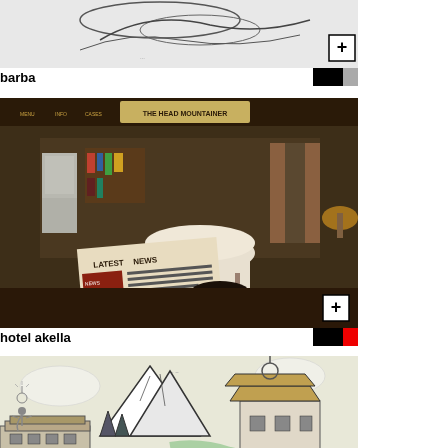[Figure (screenshot): Top portion of a game screenshot showing illustrated/sketch-style artwork with a + button overlay in the bottom right]
barba
[Figure (screenshot): Screenshot of a dark hotel room game scene (hotel akella) showing a room with a table, lamp, refrigerator, and a 'Latest News' newspaper in the foreground. A + button is in the bottom right corner.]
hotel akella
[Figure (illustration): Illustrated map showing a mountain landscape with Asian-style architecture, a river, trees, and a small character with a lightbulb icon on the left side.]